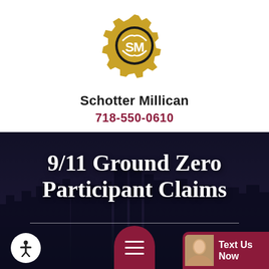[Figure (logo): Schotter Millican gold gear logo with stylized SM letters in white]
Schotter Millican
718-550-0610
[Figure (photo): New York City skyline at dusk with dark overlay and 9/11 Ground Zero Participant Claims headline text]
9/11 Ground Zero Participant Claims
Text Us Now